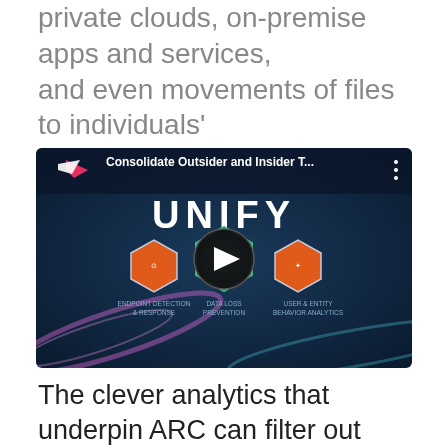private clouds, on-premise apps and services, and even movements of files to individuals' personal filestores, like Dropbox and Box.
[Figure (screenshot): YouTube video thumbnail for 'Consolidate Outsider and Insider T...' showing the word UNIFY in large white text, with three orange hexagon icons for Endpoint Detection & Response, Data Loss Prevention, and User & Entity Behavior Analytics on a dark blue background, with a play button overlay.]
The clever analytics that underpin ARC can filter out false positives, only triggering preset alerts for security staff and threat hunters when its comprehensive rulesets are breached.